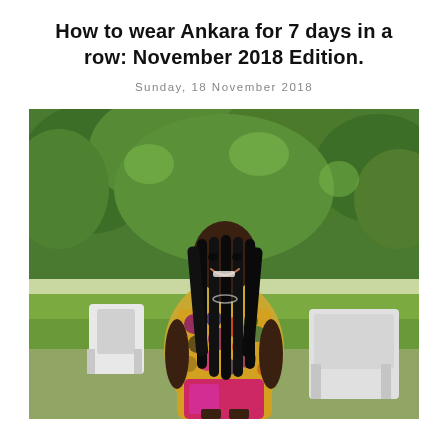How to wear Ankara for 7 days in a row: November 2018 Edition.
Sunday, 18 November 2018
[Figure (photo): A smiling woman with long braided hair wearing a colorful Ankara print dress, seated outdoors on a white plastic chair. Green trees and garden in the background. Two white decorative chairs visible behind her.]